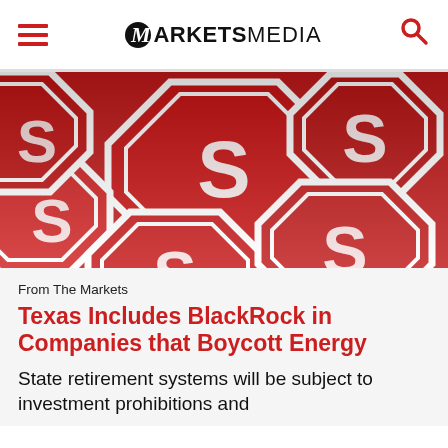MARKETS MEDIA
[Figure (photo): Multiple red stop signs stacked together, photographed from above at an angle, showing partial text on the signs.]
From The Markets
Texas Includes BlackRock in Companies that Boycott Energy
State retirement systems will be subject to investment prohibitions and divestment requirements.